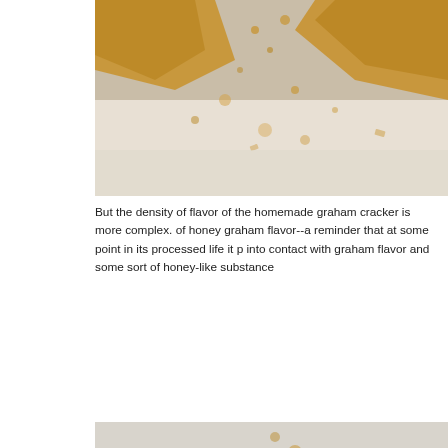[Figure (photo): Close-up photo of graham cracker pieces and crumbs scattered on a light surface, viewed from above. Golden-brown crackers with crumbles visible.]
But the density of flavor of the homemade graham cracker is more complex. of honey graham flavor--a reminder that at some point in its processed life it p into contact with graham flavor and some sort of honey-like substance
[Figure (photo): Close-up photo of homemade graham crackers stacked in a white oval dish, with crumbs scattered on a light gray surface. A square graham cracker with dot perforations is visible to the right.]